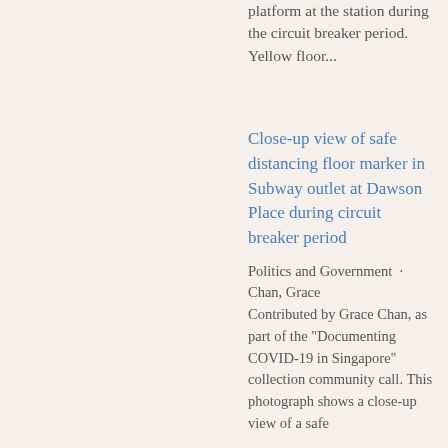platform at the station during the circuit breaker period. Yellow floor...
Close-up view of safe distancing floor marker in Subway outlet at Dawson Place during circuit breaker period
Politics and Government · Chan, Grace
Contributed by Grace Chan, as part of the "Documenting COVID-19 in Singapore" collection community call. This photograph shows a close-up view of a safe